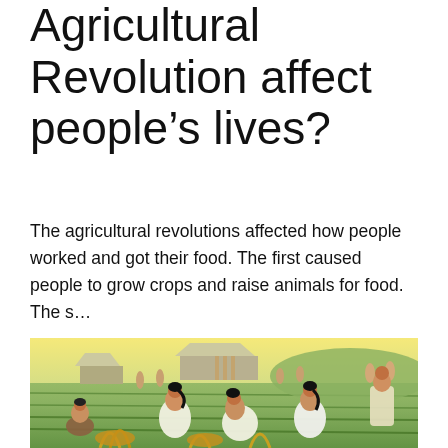Agricultural Revolution affect people's lives?
The agricultural revolutions affected how people worked and got their food. The first caused people to grow crops and raise animals for food. The s...
[Figure (illustration): Illustration showing ancient people farming, harvesting crops in rice paddies or fields. Several figures in the foreground are bent over gathering crops. In the background are thatched-roof buildings and more workers in the fields.]